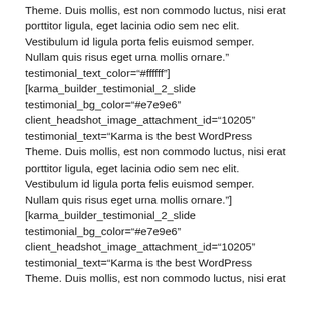Theme. Duis mollis, est non commodo luctus, nisi erat porttitor ligula, eget lacinia odio sem nec elit. Vestibulum id ligula porta felis euismod semper. Nullam quis risus eget urna mollis ornare." testimonial_text_color="#ffffff"] [karma_builder_testimonial_2_slide testimonial_bg_color="#e7e9e6" client_headshot_image_attachment_id="10205" testimonial_text="Karma is the best WordPress Theme. Duis mollis, est non commodo luctus, nisi erat porttitor ligula, eget lacinia odio sem nec elit. Vestibulum id ligula porta felis euismod semper. Nullam quis risus eget urna mollis ornare."] [karma_builder_testimonial_2_slide testimonial_bg_color="#e7e9e6" client_headshot_image_attachment_id="10205" testimonial_text="Karma is the best WordPress Theme. Duis mollis, est non commodo luctus, nisi erat